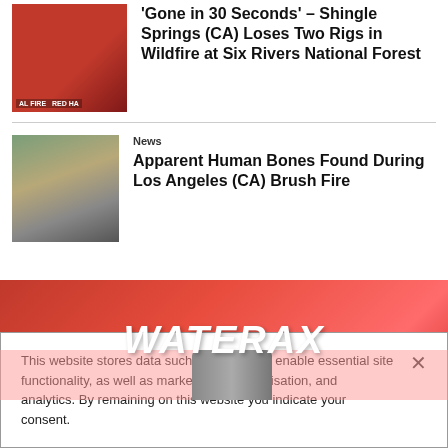[Figure (photo): Red fire truck with text 'AL FIRE RED HA' visible]
'Gone in 30 Seconds' – Shingle Springs (CA) Loses Two Rigs in Wildfire at Six Rivers National Forest
[Figure (photo): Aerial view of brush fire area with birds or debris visible]
News
Apparent Human Bones Found During Los Angeles (CA) Brush Fire
[Figure (photo): WATERAX advertisement banner with red smoke background]
This website stores data such as cookies to enable essential site functionality, as well as marketing, personalisation, and analytics. By remaining on this website you indicate your consent.